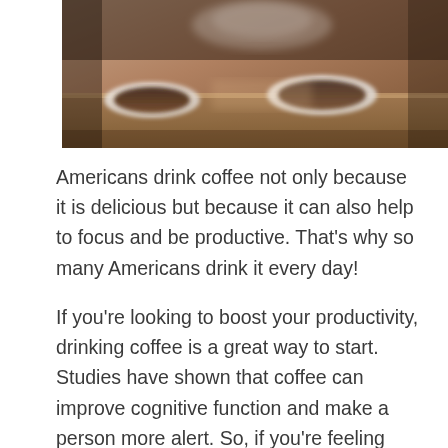[Figure (photo): Close-up photograph of coffee cups on a wooden table with warm tones, viewed from a low angle.]
Americans drink coffee not only because it is delicious but because it can also help to focus and be productive. That's why so many Americans drink it every day!
If you're looking to boost your productivity, drinking coffee is a great way to start. Studies have shown that coffee can improve cognitive function and make a person more alert. So, if you're feeling tired or struggling to focus, reach for a cup of coffee.